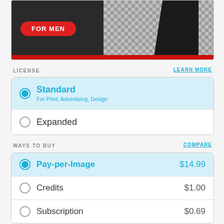[Figure (illustration): Product image for men with red badge saying FOR MEN on dark background with red strip at bottom]
LICENSE
LEARN MORE
Standard — For Print, Advertising, Design (selected)
Expanded
WAYS TO BUY
COMPARE
Pay-per-Image $14.99 (selected)
Credits $1.00
Subscription $0.69